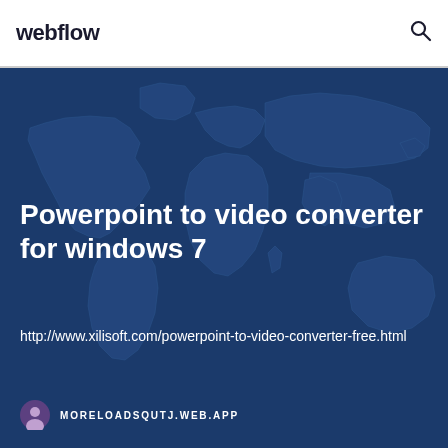webflow
[Figure (screenshot): Webflow website screenshot showing a page with a world map background in dark blue tones, with the title 'Powerpoint to video converter for windows 7', a URL link, and an author attribution at the bottom.]
Powerpoint to video converter for windows 7
http://www.xilisoft.com/powerpoint-to-video-converter-free.html
MORELOADSQUTJ.WEB.APP